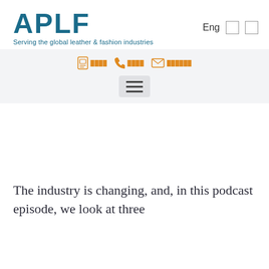[Figure (logo): APLF logo with tagline 'Serving the global leather & fashion industries']
Eng
[Figure (infographic): Navigation bar with icons for contact card, phone, email and hamburger menu]
The industry is changing, and, in this podcast episode, we look at three